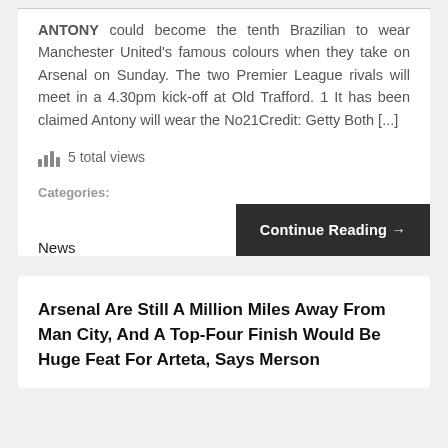ANTONY could become the tenth Brazilian to wear Manchester United's famous colours when they take on Arsenal on Sunday. The two Premier League rivals will meet in a 4.30pm kick-off at Old Trafford. 1 It has been claimed Antony will wear the No21Credit: Getty Both [...]
5 total views
Categories: News
Continue Reading →
Arsenal Are Still A Million Miles Away From Man City, And A Top-Four Finish Would Be Huge Feat For Arteta, Says Merson